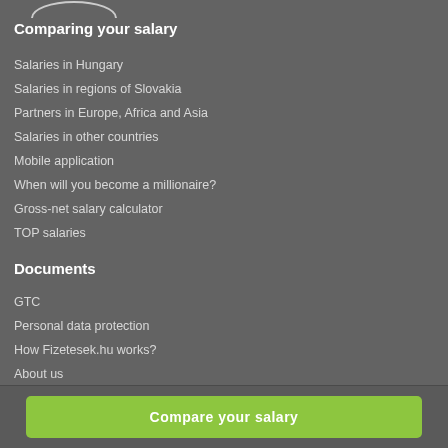[Figure (logo): Partial logo visible at top left]
Comparing your salary
Salaries in Hungary
Salaries in regions of Slovakia
Partners in Europe, Africa and Asia
Salaries in other countries
Mobile application
When will you become a millionaire?
Gross-net salary calculator
TOP salaries
Documents
GTC
Personal data protection
How Fizetesek.hu works?
About us
Compare your salary